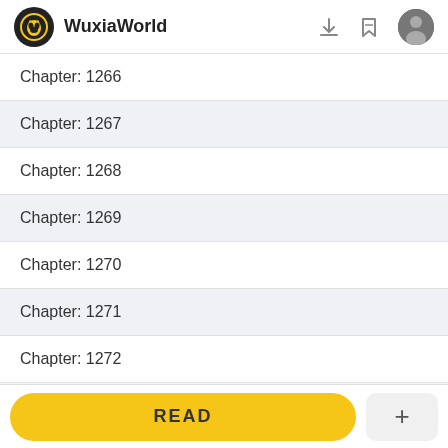WuxiaWorld
Chapter: 1266
Chapter: 1267
Chapter: 1268
Chapter: 1269
Chapter: 1270
Chapter: 1271
Chapter: 1272
READ